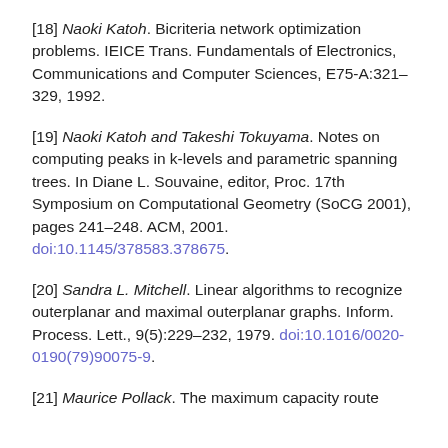[18] Naoki Katoh. Bicriteria network optimization problems. IEICE Trans. Fundamentals of Electronics, Communications and Computer Sciences, E75-A:321–329, 1992.
[19] Naoki Katoh and Takeshi Tokuyama. Notes on computing peaks in k-levels and parametric spanning trees. In Diane L. Souvaine, editor, Proc. 17th Symposium on Computational Geometry (SoCG 2001), pages 241–248. ACM, 2001. doi:10.1145/378583.378675.
[20] Sandra L. Mitchell. Linear algorithms to recognize outerplanar and maximal outerplanar graphs. Inform. Process. Lett., 9(5):229–232, 1979. doi:10.1016/0020-0190(79)90075-9.
[21] Maurice Pollack. The maximum capacity route...